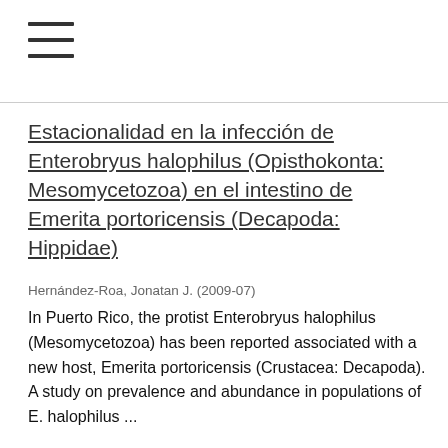≡
Estacionalidad en la infección de Enterobryus halophilus (Opisthokonta: Mesomycetozoa) en el intestino de Emerita portoricensis (Decapoda: Hippidae)
Hernández-Roa, Jonatan J. (2009-07)
In Puerto Rico, the protist Enterobryus halophilus (Mesomycetozoa) has been reported associated with a new host, Emerita portoricensis (Crustacea: Decapoda). A study on prevalence and abundance in populations of E. halophilus ...